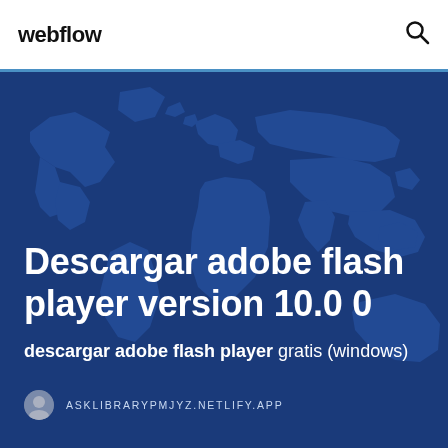webflow
[Figure (illustration): World map illustration on dark blue background, used as hero banner background]
Descargar adobe flash player version 10.0 0
descargar adobe flash player gratis (windows)
ASKLIBRARYPMJYZ.NETLIFY.APP